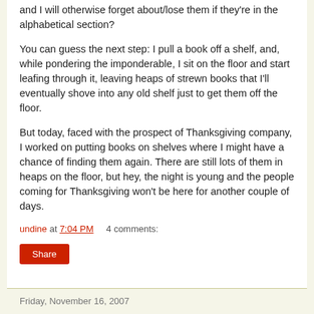and I will otherwise forget about/lose them if they're in the alphabetical section?
You can guess the next step: I pull a book off a shelf, and, while pondering the imponderable, I sit on the floor and start leafing through it, leaving heaps of strewn books that I'll eventually shove into any old shelf just to get them off the floor.
But today, faced with the prospect of Thanksgiving company, I worked on putting books on shelves where I might have a chance of finding them again. There are still lots of them in heaps on the floor, but hey, the night is young and the people coming for Thanksgiving won't be here for another couple of days.
undine at 7:04 PM    4 comments:
Share
Friday, November 16, 2007
Reading with the class